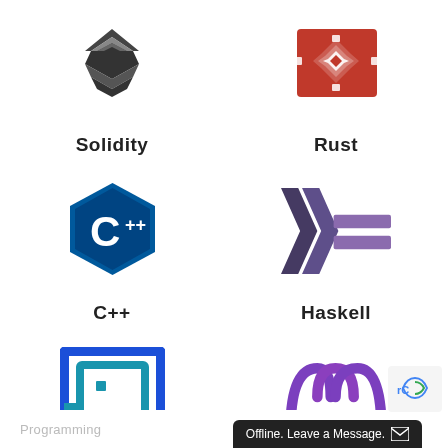[Figure (logo): Solidity programming language logo — dark geometric shape, partially cropped at top]
Solidity
[Figure (logo): Rust programming language logo — red square with white diamond gear shape, partially cropped at top]
Rust
[Figure (logo): C++ programming language logo — blue hexagon with C++ text]
C++
[Figure (logo): Haskell programming language logo — purple lambda/chevron shapes with horizontal bars]
Haskell
[Figure (logo): Plutus smart contract platform logo — blue square spiral/maze pattern]
Plutus
[Figure (logo): Marlowe smart contract language logo — purple/violet stylized M arch with MARLOWE text]
Marlowe
Programming